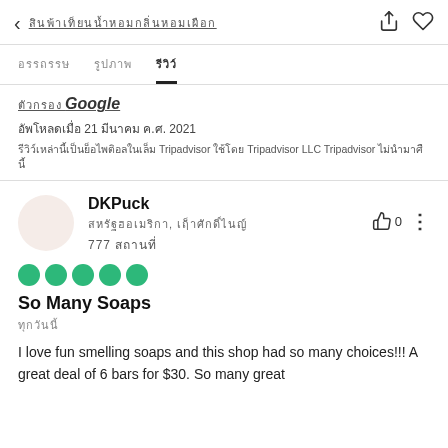< [Thai text] [share icon] [heart icon]
[Thai tab 1]   [Thai tab 2]   [Thai tab 3 - active]
[Thai text] Google
[Thai date text] 21 [Thai] ค.ศ. 2021
[Thai legal text] Tripadvisor [Thai] Tripadvisor LLC Tripadvisor [Thai]
DKPuck
[Thai location], [Thai region]
777 [Thai]
[Figure (other): Five green filled circles representing a 5-dot rating]
So Many Soaps
[Thai date text]
I love fun smelling soaps and this shop had so many choices!!! A great deal of 6 bars for $30. So many great